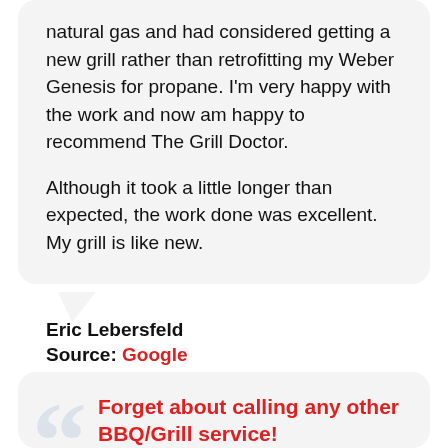natural gas and had considered getting a new grill rather than retrofitting my Weber Genesis for propane. I'm very happy with the work and now am happy to recommend The Grill Doctor.

Although it took a little longer than expected, the work done was excellent. My grill is like new.
Eric Lebersfeld
Source: Google
Forget about calling any other BBQ/Grill service!